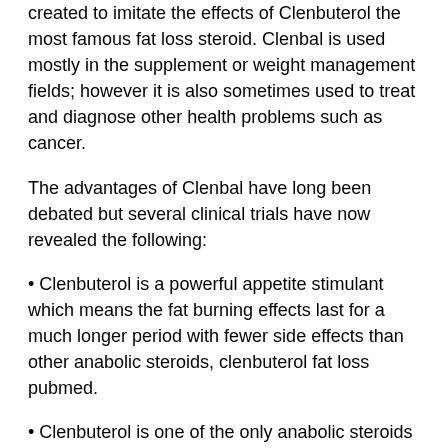created to imitate the effects of Clenbuterol the most famous fat loss steroid. Clenbal is used mostly in the supplement or weight management fields; however it is also sometimes used to treat and diagnose other health problems such as cancer.
The advantages of Clenbal have long been debated but several clinical trials have now revealed the following:
Clenbuterol is a powerful appetite stimulant which means the fat burning effects last for a much longer period with fewer side effects than other anabolic steroids, clenbuterol fat loss pubmed.
Clenbuterol is one of the only anabolic steroids that does not adversely affect libido; however, there is a growing body of reports of low libido and sexual dysfunction associated with Clenbuterol use and the